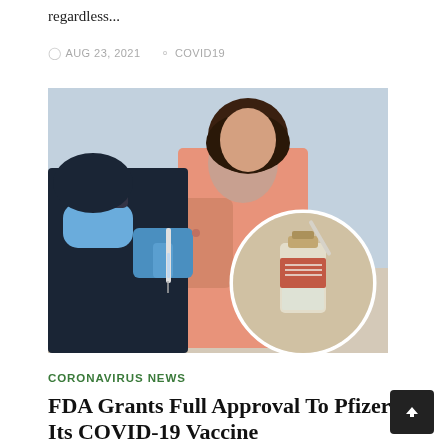regardless...
AUG 23, 2021   COVID19
[Figure (photo): A healthcare worker in a blue mask and gloves administering a vaccine injection to a woman in a pink top, with an inset circular image showing a vaccine vial.]
CORONAVIRUS NEWS
FDA Grants Full Approval To Pfizer For Its COVID-19 Vaccine
The U.S. Food and Drug Administration (FDA) granted full approval to Pfizer-BioNTech's coronavirus vaccine for those aged 16 and older...
AUG 23, 2021   COVID19